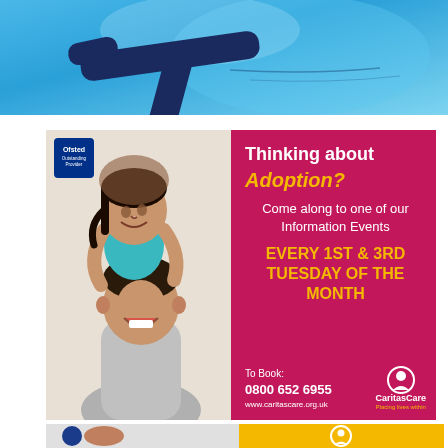[Figure (photo): A swimmer underwater viewed from below against a bright blue background, forming a T or cross shape with arms and body]
[Figure (photo): Advertisement for CaritasCare adoption information events. Left side shows photo of two happy children playing. Right side is magenta pink panel with text: 'Thinking about Adoption? Come along to one of our Information Events. EVERY 1ST & 3RD TUESDAY OF THE MONTH. To Book: 0800 652 6955. www.caritascare.org.uk' with CaritasCare logo. Ofsted Outstanding Provider badge in top left.]